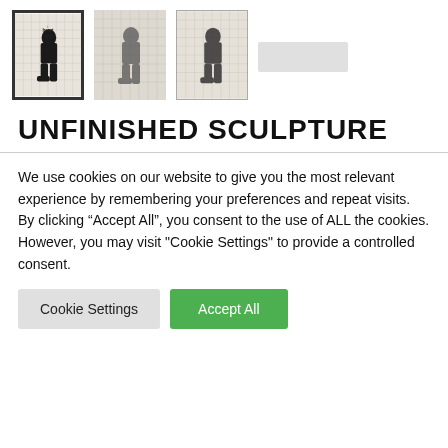[Figure (illustration): Four thumbnail images of an artwork called Unfinished Sculpture. The first thumbnail has a dark border (selected state), the second is plain/blurred, the third has a light frame, and the fourth is a gray placeholder bar. Each shows a kneeling figure silhouette with text overlaid on a gridded background.]
UNFINISHED SCULPTURE
We use cookies on our website to give you the most relevant experience by remembering your preferences and repeat visits. By clicking “Accept All”, you consent to the use of ALL the cookies. However, you may visit "Cookie Settings" to provide a controlled consent.
Cookie Settings  Accept All